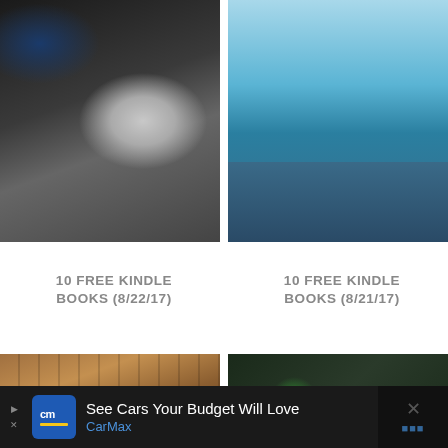[Figure (photo): E-reader device with USB cable on dark surface, with coffee cup partially visible]
[Figure (photo): Hand holding an e-reader device against a blue sky and ocean background]
10 FREE KINDLE BOOKS (8/22/17)
10 FREE KINDLE BOOKS (8/21/17)
[Figure (photo): Wooden surface, close-up texture]
[Figure (photo): Dark surface with circular/spherical objects]
See Cars Your Budget Will Love CarMax